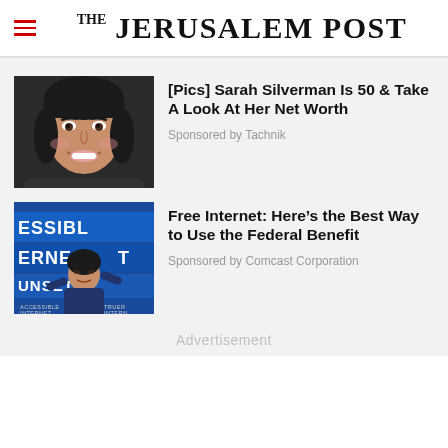THE JERUSALEM POST
[Figure (photo): Photo of Sarah Silverman smiling, dark hair, against a dark background]
[Pics] Sarah Silverman Is 50 & Take A Look At Her Net Worth
Sponsored by Tachnik
[Figure (photo): Photo of a woman speaking at a podium with text ESSIBL ERNE UNSET visible on a blue background behind her]
Free Internet: Here’s the Best Way to Use the Federal Benefit
Sponsored by Comcast Corporation
Advertisement